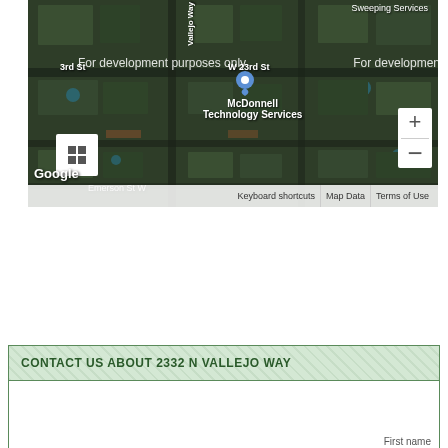[Figure (map): Google Maps aerial/satellite view showing McDonnell Technology Services at approximately 2332 N Vallejo Way. Map shows W 23rd St, Vallejo Way, Emerson St W. Includes 'For development purposes only' watermarks, zoom controls (+/-), grid/layers button, Google logo, and footer bar with Keyboard shortcuts, Map Data, Terms of Use.]
CONTACT US ABOUT 2332 N VALLEJO WAY
First name